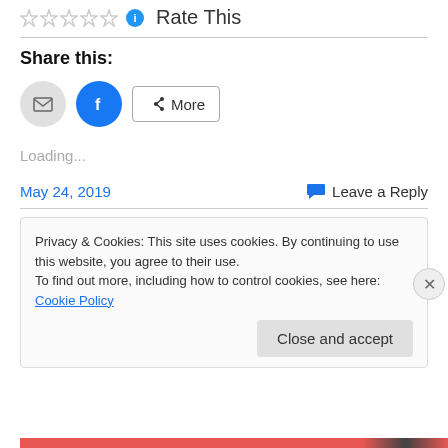Rate This
Share this:
[Figure (illustration): Share buttons: email (grey circle), Facebook (blue circle with f logo), More button with share icon]
Loading...
May 24, 2019
Leave a Reply
Privacy & Cookies: This site uses cookies. By continuing to use this website, you agree to their use.
To find out more, including how to control cookies, see here: Cookie Policy
Close and accept